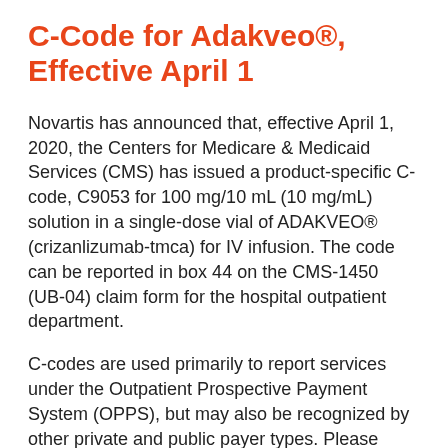Novartis Announces New C-Code for Adakveo®, Effective April 1
Novartis has announced that, effective April 1, 2020, the Centers for Medicare & Medicaid Services (CMS) has issued a product-specific C-code, C9053 for 100 mg/10 mL (10 mg/mL) solution in a single-dose vial of ADAKVEO® (crizanlizumab-tmca) for IV infusion. The code can be reported in box 44 on the CMS-1450 (UB-04) claim form for the hospital outpatient department.
C-codes are used primarily to report services under the Outpatient Prospective Payment System (OPPS), but may also be recognized by other private and public payer types. Please check with each payer for specific